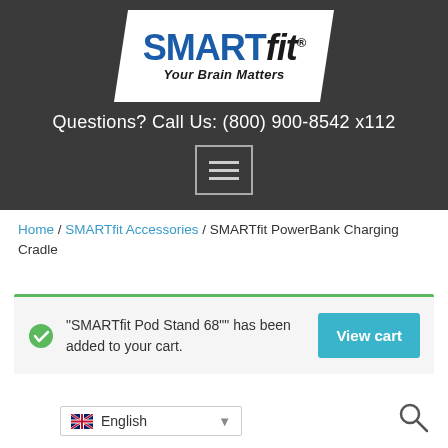[Figure (logo): SMARTfit logo on white parallelogram background with tagline 'Your Brain Matters' on dark grey header bar]
Questions? Call Us: (800) 900-8542 x112
Home / SMARTfit Accessories / SMARTfit PowerBank Charging Cradle
"SMARTfit Pod Stand 68"" has been added to your cart.
View cart
English